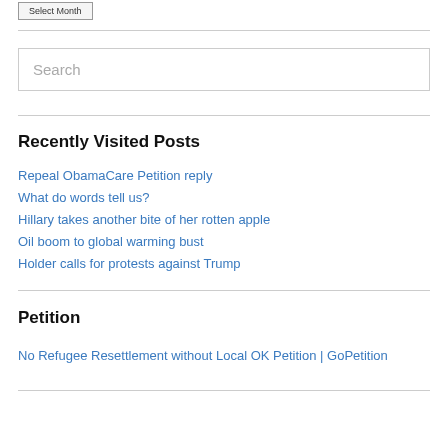Select Month
Search
Recently Visited Posts
Repeal ObamaCare Petition reply
What do words tell us?
Hillary takes another bite of her rotten apple
Oil boom to global warming bust
Holder calls for protests against Trump
Petition
No Refugee Resettlement without Local OK Petition | GoPetition